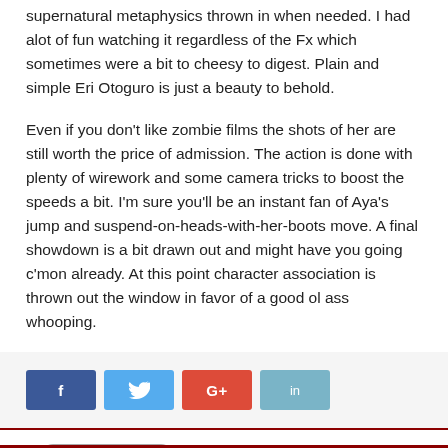supernatural metaphysics thrown in when needed. I had alot of fun watching it regardless of the Fx which sometimes were a bit to cheesy to digest. Plain and simple Eri Otoguro is just a beauty to behold.
Even if you don't like zombie films the shots of her are still worth the price of admission. The action is done with plenty of wirework and some camera tricks to boost the speeds a bit. I'm sure you'll be an instant fan of Aya's jump and suspend-on-heads-with-her-boots move. A final showdown is a bit drawn out and might have you going c'mon already. At this point character association is thrown out the window in favor of a good ol ass whooping.
[Figure (infographic): Social media share buttons: Facebook (blue), Twitter (light blue), Google+ (red), LinkedIn (teal)]
Tags  ONECHANBARA
Around the Web